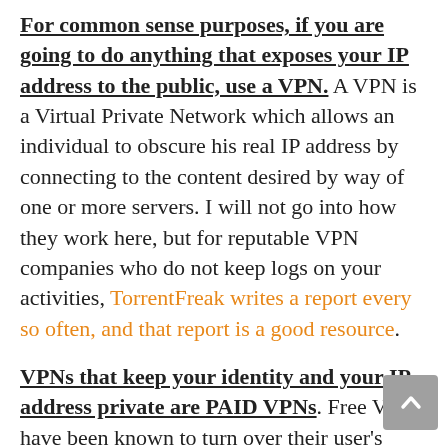For common sense purposes, if you are going to do anything that exposes your IP address to the public, use a VPN. A VPN is a Virtual Private Network which allows an individual to obscure his real IP address by connecting to the content desired by way of one or more servers. I will not go into how they work here, but for reputable VPN companies who do not keep logs on your activities, TorrentFreak writes a report every so often, and that report is a good resource.
VPNs that keep your identity and your IP address private are PAID VPNs. Free VPNs have been known to turn over their user's account information (as have various paid VPNs as well, which is why I suggested TorrentFreak's list).
If you were willing to learn how to program your router to route your internet connection through